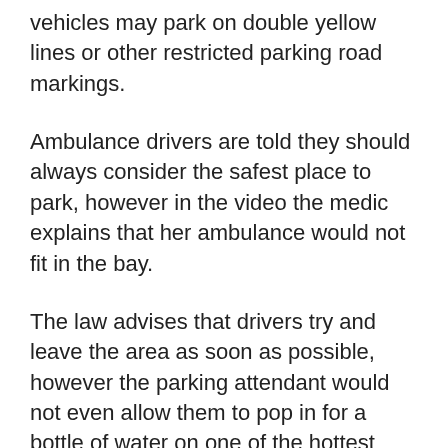vehicles may park on double yellow lines or other restricted parking road markings.
Ambulance drivers are told they should always consider the safest place to park, however in the video the medic explains that her ambulance would not fit in the bay.
The law advises that drivers try and leave the area as soon as possible, however the parking attendant would not even allow them to pop in for a bottle of water on one of the hottest days of the year.
An ambulance may also exceed the speed limit if it safe to do so, however they are generally advised to go no quicker than 20mph above the speed limit of a